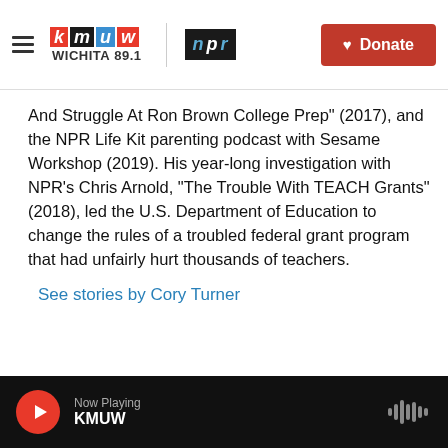KMUW WICHITA 89.1 | NPR | Donate
And Struggle At Ron Brown College Prep" (2017), and the NPR Life Kit parenting podcast with Sesame Workshop (2019). His year-long investigation with NPR's Chris Arnold, "The Trouble With TEACH Grants" (2018), led the U.S. Department of Education to change the rules of a troubled federal grant program that had unfairly hurt thousands of teachers.
See stories by Cory Turner
Now Playing KMUW